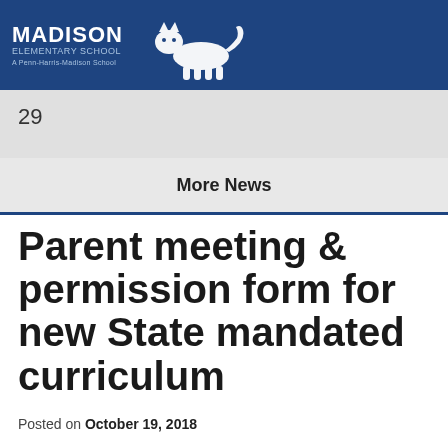MADISON ELEMENTARY SCHOOL — A Penn-Harris-Madison School
29
More News
Parent meeting & permission form for new State mandated curriculum
Posted on October 19, 2018
Monday, Nov. 5